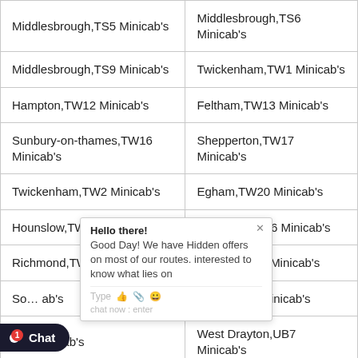| Middlesbrough,TS5 Minicab's | Middlesbrough,TS6 Minicab's |
| Middlesbrough,TS9 Minicab's | Twickenham,TW1 Minicab's |
| Hampton,TW12 Minicab's | Feltham,TW13 Minicab's |
| Sunbury-on-thames,TW16 Minicab's | Shepperton,TW17 Minicab's |
| Twickenham,TW2 Minicab's | Egham,TW20 Minicab's |
| Hounslow,TW5 Minicab's | Hounslow,TW6 Minicab's |
| Richmond,TW9 Minicab's | Southall,UB1 Minicab's |
| So[truncated] ab's | Hayes,UB3 Minicab's |
| Gre[truncated] nicab's | West Drayton,UB7 Minicab's |
| Lo[truncated] o's | London,W10 Minicab's |
| Lo[truncated] ab's | London,W14 Minicab's |
| London,W1D Minicab's | London,W1F Minicab's |